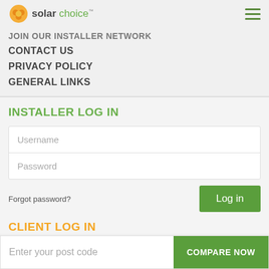[Figure (logo): Solar Choice logo with sun icon and green/grey text]
JOIN OUR INSTALLER NETWORK
CONTACT US
PRIVACY POLICY
GENERAL LINKS
INSTALLER LOG IN
Username
Password
Forgot password?
Log in
CLIENT LOG IN
Enter your post code
COMPARE NOW